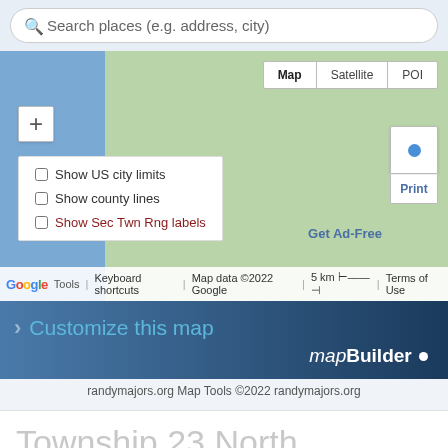Search places (e.g. address, city)
[Figure (screenshot): Google Maps interface showing a map with blue left panel and green terrain, with Map/Satellite/POI toggle, zoom button, checkboxes for Show US city limits, Show county lines, Show Sec Twn Rng labels, a print button, Get Ad-Free link, Google logo, and map attribution bar]
[Figure (screenshot): mapBuilder banner with arrow icon, 'Customize this map' text in blue, and 'mapBuilder' italic/bold branding with a dot]
randymajors.org Map Tools ©2022 randymajors.org
Township 23 North, Range 6 West, 3rd